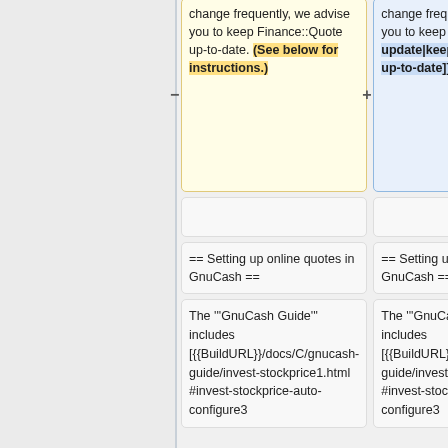change frequently, we advise you to keep Finance::Quote up-to-date. (See below for instructions.)
change frequently, we advise you to keep [[#gnc-fq-update|keep Finance::Quote up-to-date]].
== Setting up online quotes in GnuCash ==
== Setting up online quotes in GnuCash ==
The '''GnuCash Guide''' includes [{{BuildURL}}/docs/C/gnucash-guide/invest-stockprice1.html #invest-stockprice-auto-configure3
The '''GnuCash Guide''' includes [{{BuildURL}}/docs/C/gnucash-guide/invest-stockprice1.html #invest-stockprice-auto-configure3